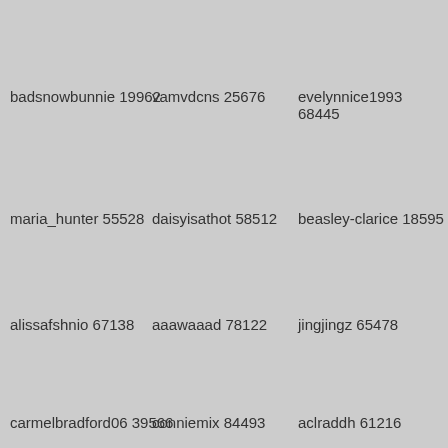badsnowbunnie 19962
vamvdcns 25676
evelynnice1993 68445
maria_hunter 55528
daisyisathot 58512
beasley-clarice 18595
alissafshnio 67138
aaawaaad 78122
jingjingz 65478
carmelbradford06 39566
conniemix 84493
aclraddh 61216